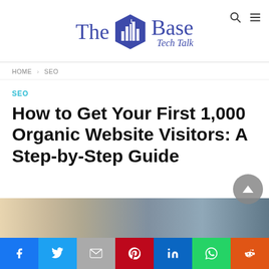The IT Base Tech Talk
HOME › SEO
SEO
How to Get Your First 1,000 Organic Website Visitors: A Step-by-Step Guide
[Figure (photo): Partial bottom image strip showing article hero image, partially visible]
[Figure (infographic): Social sharing bar with icons: Facebook, Twitter, Gmail, Pinterest, LinkedIn, WhatsApp, Reddit]